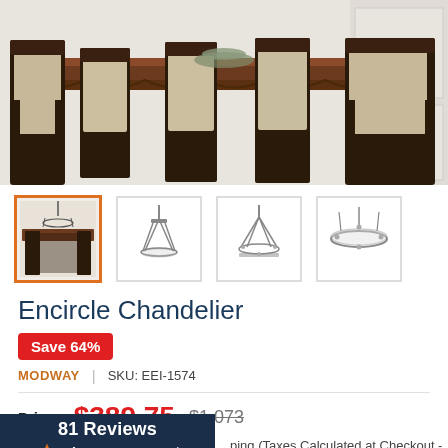[Figure (photo): Dining room scene with dark wood table and upholstered chairs in beige/tan]
[Figure (photo): Four product thumbnail images of the Encircle Chandelier. First thumbnail selected with orange border showing chandelier over dining table; second showing front/profile view; third showing angled view; fourth showing top-down view.]
Encircle Chandelier
Save 64%
MODWAY | SKU: EEI-1574
Price: $389.75  $1,073
bing (Taxes Calculated at Checkout - s Only)
81 Reviews
[Figure (logo): ShopperApproved logo with star icon]